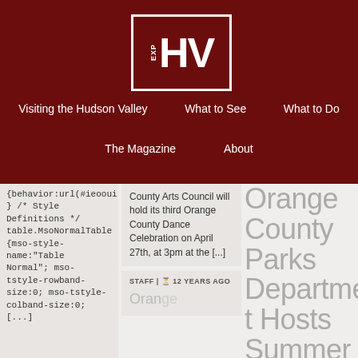[Figure (logo): EXP HV logo in white on dark red background with white border]
Visiting the Hudson Valley  |  What to See  |  What to Do  |  The Magazine  |  About
{behavior:url(#ieooui) } /* Style Definitions */ table.MsoNormalTable {mso-style-name:"Table Normal"; mso-tstyle-rowband-size:0; mso-tstyle-colband-size:0; [...]
County Arts Council will hold its third Orange County Dance Celebration on April 27th, at 3pm at the [...]
STAFF | 12 YEARS AGO
Orange County Parks Department Hosts Summer Film Fest
Orange County